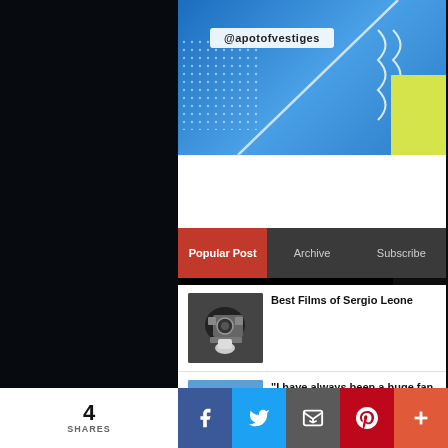[Figure (screenshot): Blog/website banner with @apotofvestiges handle and social media icons (Facebook, Twitter, Instagram, LinkedIn) on blue background with geometric design]
Popular Post | Archive | Subscribe
[Figure (photo): Black and white photo of a film director/cameraman looking through a large camera]
Best Films of Sergio Leone
[Figure (photo): Colorful photo of a person in yellow jacket near an aircraft]
"I have always been a huge fan of Akshay Kumar," says his Cuttputlli co-star Rakul Preet Singh
[Figure (photo): Partial photo thumbnail for The Terminal List article]
'The Terminal List' Review:
4 SHARES | Facebook | Twitter | Email | Pinterest | More